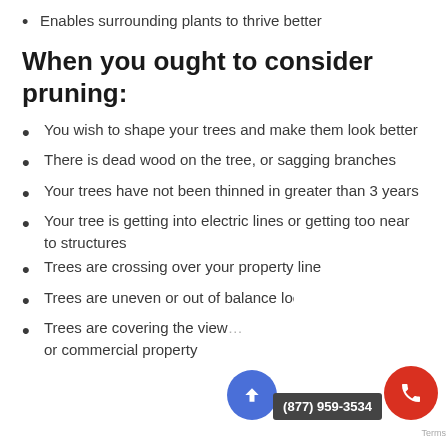Enables surrounding plants to thrive better
When you ought to consider pruning:
You wish to shape your trees and make them look better
There is dead wood on the tree, or sagging branches
Your trees have not been thinned in greater than 3 years
Your tree is getting into electric lines or getting too near to structures
Trees are crossing over your property line
Trees are uneven or out of balance loo…
Trees are covering the view… or commercial property